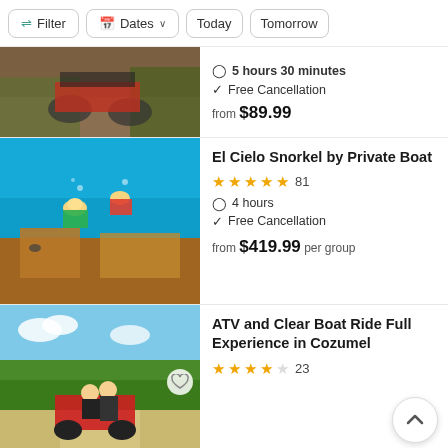[Figure (screenshot): Filter bar with Filter, Dates, Today, Tomorrow buttons]
[Figure (photo): ATV riding through muddy trail in jungle — partial card top]
5 hours 30 minutes
Free Cancellation
from $89.99
[Figure (photo): Underwater photo of two snorkelers over coral reef in turquoise water]
El Cielo Snorkel by Private Boat
81 (5 stars)
4 hours
Free Cancellation
from $419.99 per group
[Figure (photo): Couple on ATV with blue sky and jungle background]
ATV and Clear Boat Ride Full Experience in Cozumel
23 (4.5 stars)